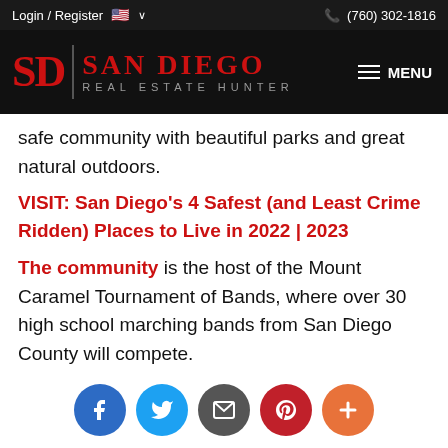Login / Register  🇺🇸 ∨   (760) 302-1816
[Figure (logo): San Diego Real Estate Hunter logo with SD monogram in red on black background, with hamburger MENU button on right]
safe community with beautiful parks and great natural outdoors.
VISIT: San Diego's 4 Safest (and Least Crime Ridden) Places to Live in 2022 | 2023
The community is the host of the Mount Caramel Tournament of Bands, where over 30 high school marching bands from San Diego County will compete.
[Figure (infographic): Social sharing bar with Facebook (blue), Twitter (light blue), Email (dark grey), Pinterest (dark red), and More/Plus (orange) round icon buttons]